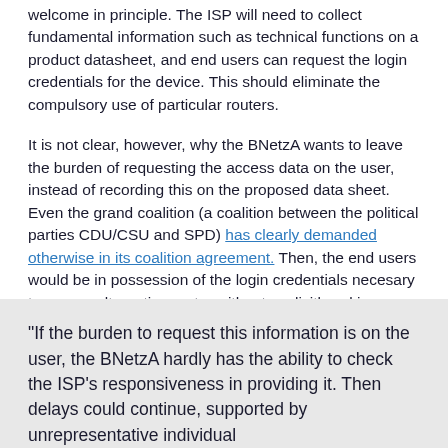welcome in principle. The ISP will need to collect fundamental information such as technical functions on a product datasheet, and end users can request the login credentials for the device. This should eliminate the compulsory use of particular routers.
It is not clear, however, why the BNetzA wants to leave the burden of requesting the access data on the user, instead of recording this on the proposed data sheet. Even the grand coalition (a coalition between the political parties CDU/CSU and SPD) has clearly demanded otherwise in its coalition agreement. Then, the end users would be in possession of the login credentials necesary to use an alternative router without explicitly asking.
"If the burden to request this information is on the user, the BNetzA hardly has the ability to check the ISP’s responsiveness in providing it. Then delays could continue, supported by unrepresentative individual